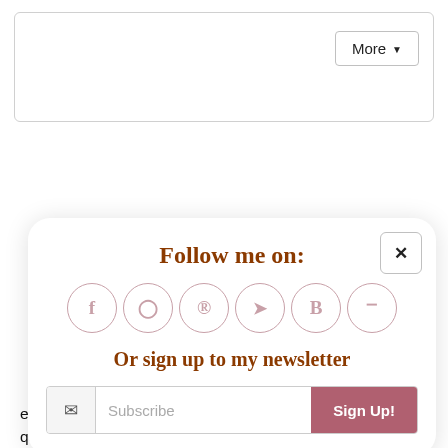[Figure (screenshot): Top white card/box with 'More' dropdown button in top-right corner]
[Figure (screenshot): Modal popup with 'Follow me on:' heading in handwritten brown font, six social media icons (Facebook, Instagram, Pinterest, Twitter, Bloglovin, RSS) in pink circles, 'Or sign up to my newsletter' text in handwritten brown font, and a subscribe email input row with 'Sign Up!' button. Has an X close button.]
everyday. Besides that, there are just a handful of cutesy, quaint knicknack shops, art galleries, eateries and a few